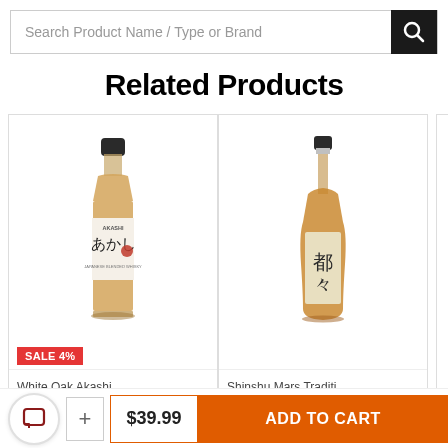Search Product Name / Type or Brand
Related Products
[Figure (photo): Akashi Japanese Blended Whisky bottle with amber liquid and white label with Japanese script]
SALE 4%
White Oak Akashi...
[Figure (photo): Shinshu Mars Tradition Japanese whisky bottle with amber liquid and gold/cream label with Japanese script]
Shinshu Mars Traditi...
$39.99
ADD TO CART